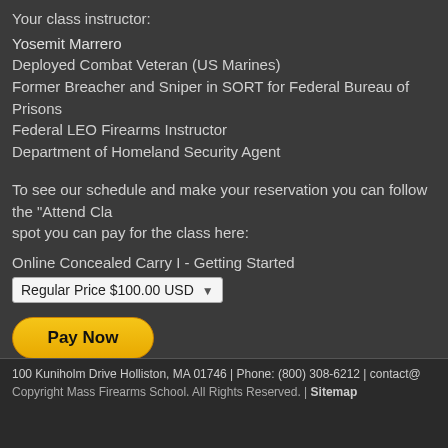Your class instructor:
Yosemit Marrero
Deployed Combat Veteran (US Marines)
Former Breacher and Sniper in SORT for Federal Bureau of Prisons
Federal LEO Firearms Instructor
Department of Homeland Security Agent
To see our schedule and make your reservation you can follow the "Attend Cla... spot you can pay for the class here:
Online Concealed Carry I - Getting Started
[Figure (screenshot): PayPal payment widget with Regular Price $100.00 USD dropdown, Pay Now button, and credit card icons (Visa, Mastercard, Amex, Discover)]
[Figure (other): Red ATTEND CLASS button]
100 Kuniholm Drive Holliston, MA 01746 | Phone: (800) 308-6212 | contact@
Copyright Mass Firearms School. All Rights Reserved. | Sitemap